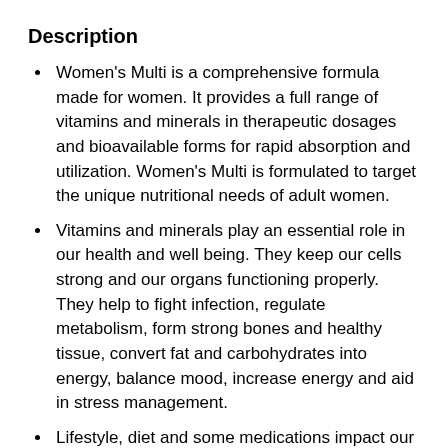Description
Women's Multi is a comprehensive formula made for women. It provides a full range of vitamins and minerals in therapeutic dosages and bioavailable forms for rapid absorption and utilization. Women's Multi is formulated to target the unique nutritional needs of adult women.
Vitamins and minerals play an essential role in our health and well being. They keep our cells strong and our organs functioning properly. They help to fight infection, regulate metabolism, form strong bones and healthy tissue, convert fat and carbohydrates into energy, balance mood, increase energy and aid in stress management.
Lifestyle, diet and some medications impact our nutritional status and are some factors that can deplete our bodies of important vitamins and minerals. We owe it to our bodies to pay back those important nutrients with a high potency,